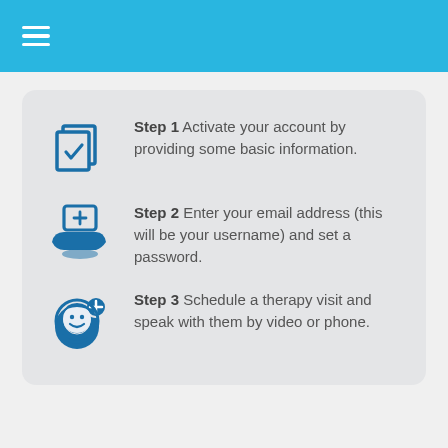≡
Step 1 Activate your account by providing some basic information.
Step 2 Enter your email address (this will be your username) and set a password.
Step 3 Schedule a therapy visit and speak with them by video or phone.